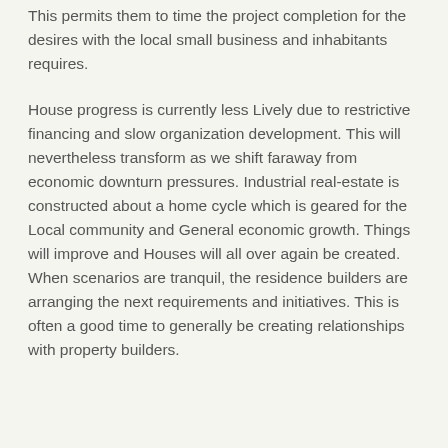This permits them to time the project completion for the desires with the local small business and inhabitants requires.
House progress is currently less Lively due to restrictive financing and slow organization development. This will nevertheless transform as we shift faraway from economic downturn pressures. Industrial real-estate is constructed about a home cycle which is geared for the Local community and General economic growth. Things will improve and Houses will all over again be created. When scenarios are tranquil, the residence builders are arranging the next requirements and initiatives. This is often a good time to generally be creating relationships with property builders.